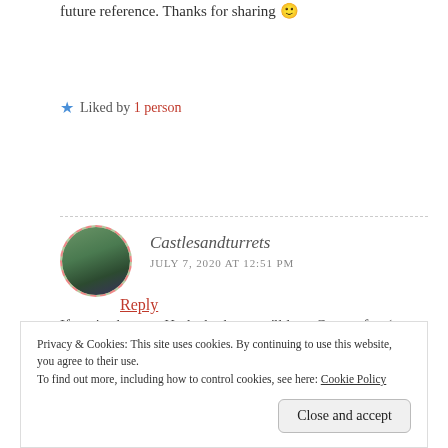future reference. Thanks for sharing 🙂
★ Liked by 1 person
Reply
[Figure (photo): Circular avatar photo of Castlesandturrets blogger with dashed border]
Castlesandturrets
JULY 7, 2020 AT 12:51 PM
If you've been to Harlech, then you'll love Caernarfon (you should also go to Beaumaris and Conwy, if you
Privacy & Cookies: This site uses cookies. By continuing to use this website, you agree to their use.
To find out more, including how to control cookies, see here: Cookie Policy
Close and accept